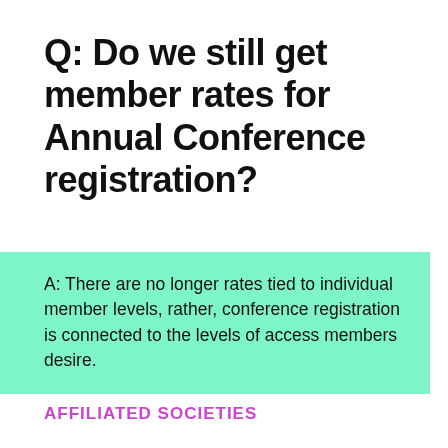Q: Do we still get member rates for Annual Conference registration?
A: There are no longer rates tied to individual member levels, rather, conference registration is connected to the levels of access members desire.
AFFILIATED SOCIETIES